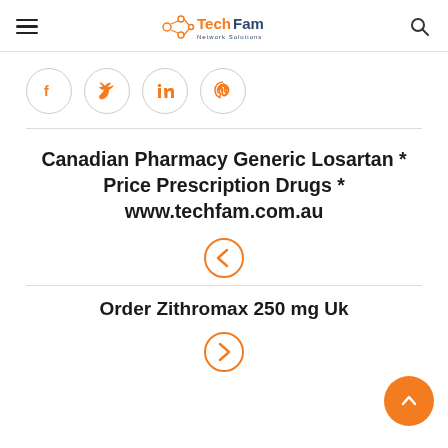TechFam Network Solutions
[Figure (infographic): Social share buttons: Facebook, Twitter, LinkedIn, Pinterest — circular outlined icons in orange]
Canadian Pharmacy Generic Losartan * Price Prescription Drugs * www.techfam.com.au
[Figure (other): Orange circular left-arrow navigation button]
Order Zithromax 250 mg Uk
[Figure (other): Orange circular right-arrow navigation button (partially visible)]